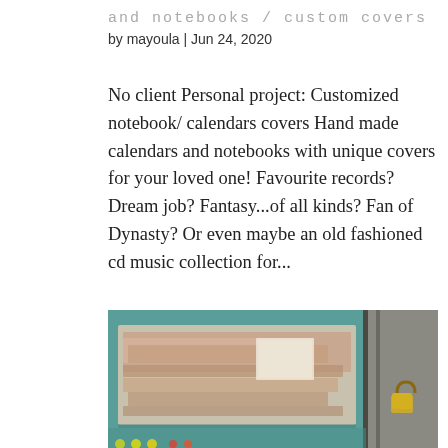and notebooks / custom covers
by mayoula | Jun 24, 2020
No client Personal project: Customized notebook/ calendars covers Hand made calendars and notebooks with unique covers for your loved one! Favourite records? Dream job? Fantasy...of all kinds? Fan of Dynasty? Or even maybe an old fashioned cd music collection for...
[Figure (photo): A notebook or calendar with a collage cover artwork showing layered images of a figure lying down, placed on a teal/turquoise surface next to a grey door with a padlock.]